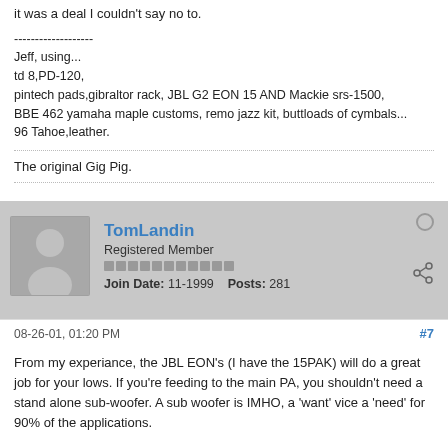it was a deal I couldn't say no to.
-------------------
Jeff, using...
td 8,PD-120,
pintech pads,gibraltor rack, JBL G2 EON 15 AND Mackie srs-1500,
BBE 462 yamaha maple customs, remo jazz kit, buttloads of cymbals...
96 Tahoe,leather.
The original Gig Pig.
TomLandin
Registered Member
Join Date: 11-1999    Posts: 281
08-26-01, 01:20 PM
#7
From my experiance, the JBL EON's (I have the 15PAK) will do a great job for your lows. If you're feeding to the main PA, you shouldn't need a stand alone sub-woofer. A sub woofer is IMHO, a 'want' vice a 'need' for 90% of the applications.
A cheaper recommendation would be to get a BBE 462 (or 482, 862...